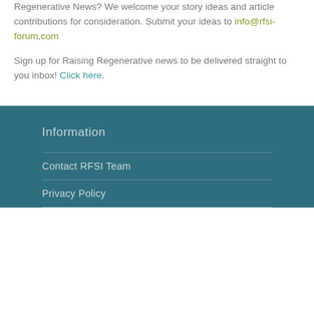Regenerative News? We welcome your story ideas and article contributions for consideration. Submit your ideas to info@rfsi-forum.com
Sign up for Raising Regenerative news to be delivered straight to you inbox! Click here.
Information
Contact RFSI Team
Privacy Policy